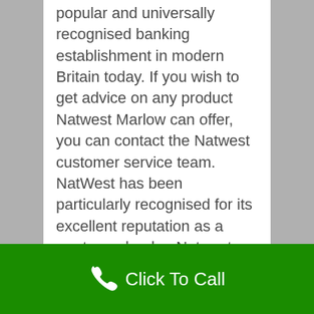popular and universally recognised banking establishment in modern Britain today. If you wish to get advice on any product Natwest Marlow can offer, you can contact the Natwest customer service team. NatWest has been particularly recognised for its excellent reputation as a mortgage lender. Natwest has received Your Mortgage Magazine's Best Bank for Mortgages award a staggering 13 times in the last 17 years, which is more than any other lender. To continue to make banking easy for their customers they operate an online banking site, a smartphone banking app and a 24-hour customer service line. If you wish to have a no obligation discussion with NatWest
Click To Call